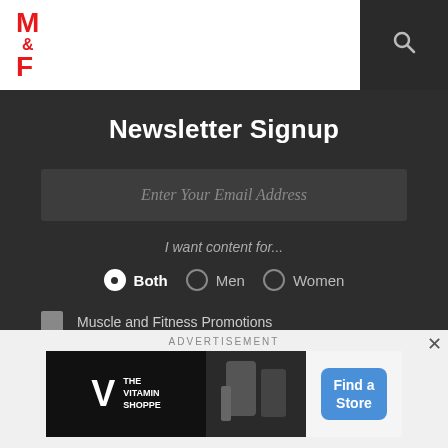M&F — Muscle & Fitness navigation header with logo, hamburger menu, and search icon
Newsletter Signup
Enter Your Email Address
I want content for...
Both   Men   Women
Muscle and Fitness Promotions
Muscle and Fitness Hers Promotions
SUBSCRIBE
ADVERTISEMENT
[Figure (screenshot): The Vitamin Shoppe advertisement banner with logo, supplement product image, and Find a Store button]